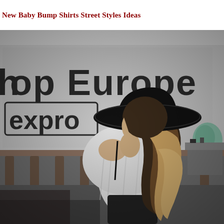New Baby Bump Shirts Street Styles Ideas
[Figure (photo): A woman with long ombre blonde hair wearing a wide-brim black floppy hat, an off-shoulder white striped shirt, and black pants, shown from behind/side profile. She is standing on a street in front of a white truck or van with text 'hip top Europe' and 'expro' visible. A teal/green object is visible on the right side. Urban street style photo.]